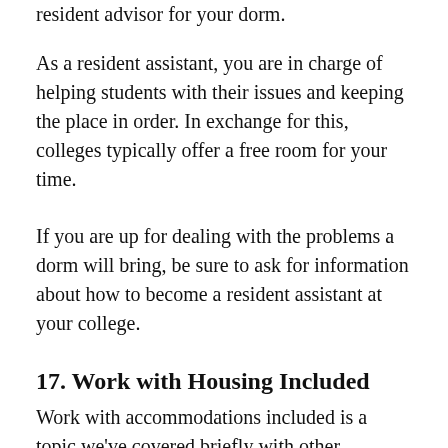resident advisor for your dorm.
As a resident assistant, you are in charge of helping students with their issues and keeping the place in order. In exchange for this, colleges typically offer a free room for your time.
If you are up for dealing with the problems a dorm will bring, be sure to ask for information about how to become a resident assistant at your college.
17. Work with Housing Included
Work with accommodations included is a topic we've covered briefly with other methods here, such as volunteering on a farm or becoming a